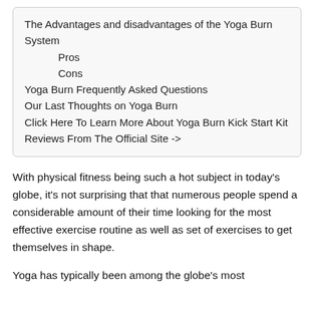The Advantages and disadvantages of the Yoga Burn System
Pros
Cons
Yoga Burn Frequently Asked Questions
Our Last Thoughts on Yoga Burn
Click Here To Learn More About Yoga Burn Kick Start Kit Reviews From The Official Site ->
With physical fitness being such a hot subject in today’s globe, it’s not surprising that that numerous people spend a considerable amount of their time looking for the most effective exercise routine as well as set of exercises to get themselves in shape.
Yoga has typically been among the globe’s most